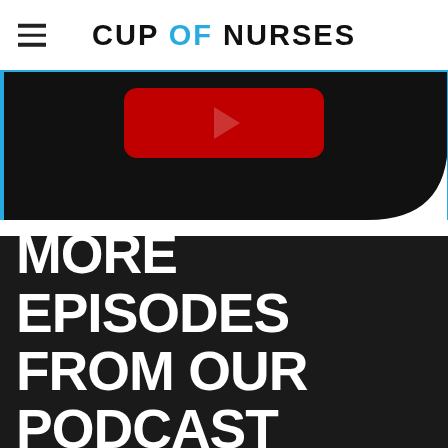CUP OF NURSES
[Figure (screenshot): Video player thumbnail with dark background, red YouTube-style play button, and rounded bottom-right corner, on a dark card.]
MORE EPISODES FROM OUR PODCAST